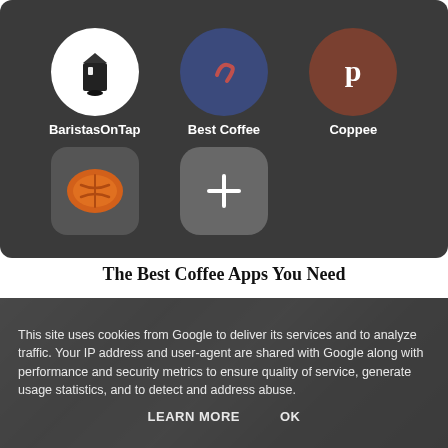[Figure (screenshot): Mobile phone screenshot showing a coffee apps folder with icons: BaristasOnTap (white circle with milk carton icon), Best Coffee (dark blue circle with checkmark), Coppee (brown circle with P logo), a coffee bean icon (square), and a + button to add more apps.]
The Best Coffee Apps You Need
[Figure (photo): Photo of coffee-related items with a cookie consent overlay banner.]
This site uses cookies from Google to deliver its services and to analyze traffic. Your IP address and user-agent are shared with Google along with performance and security metrics to ensure quality of service, generate usage statistics, and to detect and address abuse.
LEARN MORE    OK